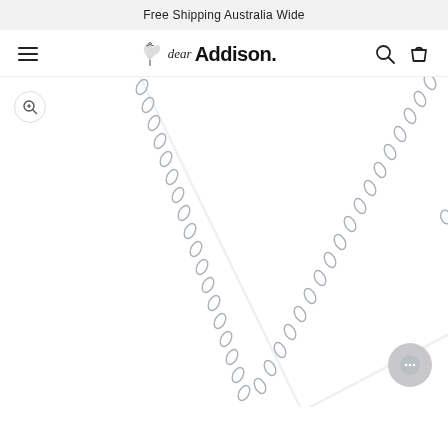Free Shipping Australia Wide
[Figure (logo): Dear Addison jewellery brand logo with stylized script 'dear' and bold 'Addison.' text with small floral/leaf decorative element]
[Figure (photo): Close-up product photo of a silver chain necklace on white background, showing two strands of the chain forming a V-shape, with link chain detail visible]